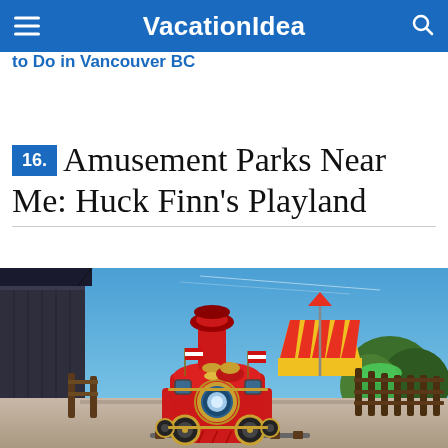VacationIdea
to Do in Vancouver BC
16. Amusement Parks Near Me: Huck Finn's Playland
[Figure (photo): A red vintage steam locomotive train at the front, facing the camera, parked on tracks at an amusement park. In the background is a colorful yellow and orange striped carousel tent, a building with a covered roof on the left, small American flags on the train, wooden fencing, and green trees under a blue sky.]